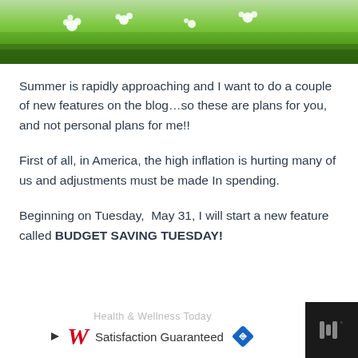[Figure (photo): Green meadow with white daisy flowers and lush grass, viewed from close up]
Summer is rapidly approaching and I want to do a couple of new features on the blog…so these are plans for you, and not personal plans for me!!
First of all, in America, the high inflation is hurting many of us and adjustments must be made In spending.
Beginning on Tuesday, May 31, I will start a new feature called BUDGET SAVING TUESDAY!
[Figure (screenshot): Walgreens advertisement banner: Health & Wellness Today, Satisfaction Guaranteed with Walgreens logo and blue diamond navigation icon]